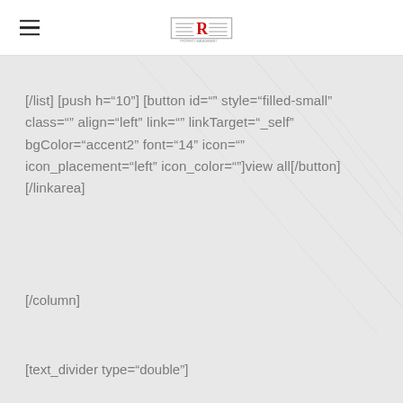[logo and hamburger menu]
[/list] [push h="10"] [button id="" style="filled-small" class="" align="left" link="" linkTarget="_self" bgColor="accent2" font="14" icon="" icon_placement="left" icon_color=""]view all[/button] [/linkarea]
[/column]
[text_divider type="double"]
Services Style 9
[/text_divider]